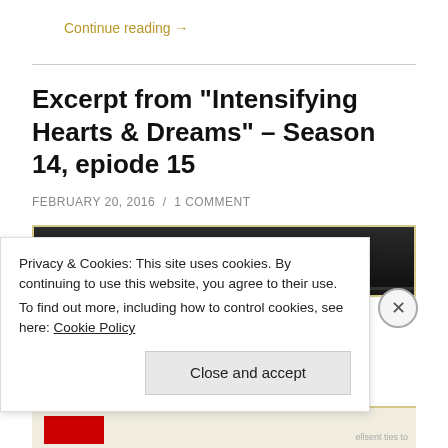Continue reading →
Excerpt from “Intensifying Hearts & Dreams” – Season 14, epiode 15
FEBRUARY 20, 2016 / 1 COMMENT
[Figure (photo): Dark television or media device screenshot, partially visible]
Privacy & Cookies: This site uses cookies. By continuing to use this website, you agree to their use.
To find out more, including how to control cookies, see here: Cookie Policy
Close and accept